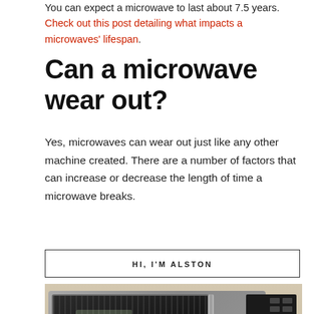You can expect a microwave to last about 7.5 years. Check out this post detailing what impacts a microwaves' lifespan.
Can a microwave wear out?
Yes, microwaves can wear out just like any other machine created. There are a number of factors that can increase or decrease the length of time a microwave breaks.
HI, I'M ALSTON
[Figure (photo): Photo of a stainless steel microwave oven with black glass door and digital control panel, sitting on a light wooden or stone countertop.]